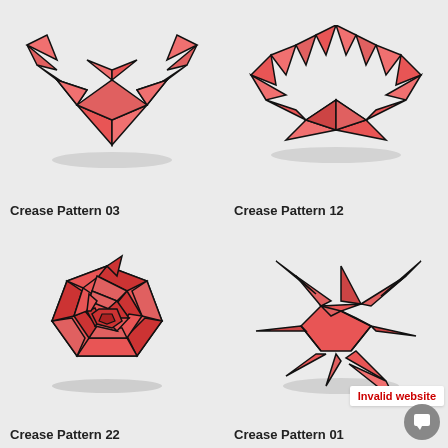[Figure (illustration): Origami crease pattern 03 - red folded star/crown shape with geometric triangular facets, 3D rendered on light gray background]
Crease Pattern 03
[Figure (illustration): Origami crease pattern 12 - red folded bat/fan shape with triangular facets, 3D rendered on light gray background]
Crease Pattern 12
[Figure (illustration): Origami crease pattern 22 - red rose/spiral hexagonal shape with concentric geometric folds, 3D rendered on light gray background]
Crease Pattern 22
[Figure (illustration): Origami crease pattern 01 - red star/spiky shape with radiating triangular points, 3D rendered on light gray background]
Crease Pattern 01
Invalid website